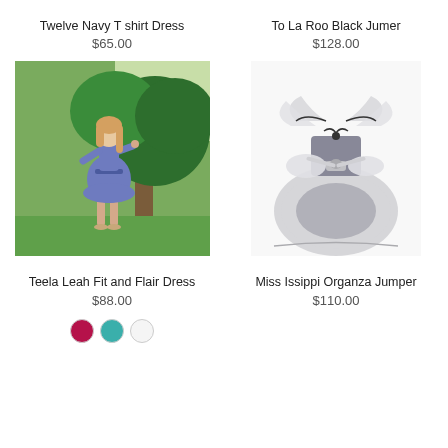Twelve Navy T shirt Dress
$65.00
To La Roo Black Jumer
$128.00
[Figure (photo): Girl in blue dress outdoors near a tree]
[Figure (photo): Gray organza jumper dress on white background]
Teela Leah Fit and Flair Dress
$88.00
Miss Issippi Organza Jumper
$110.00
[Figure (illustration): Three color swatches: pink/maroon, teal, white]